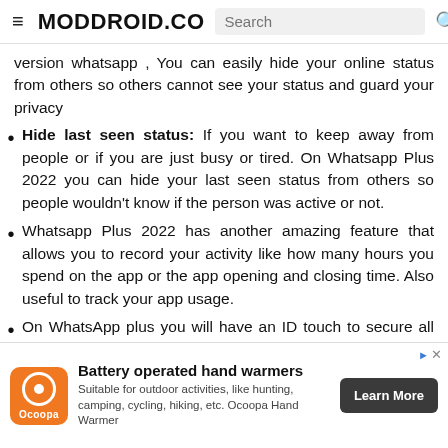≡ MODDROID.CO  Search
version whatsapp , You can easily hide your online status from others so others cannot see your status and guard your privacy
Hide last seen status: If you want to keep away from people or if you are just busy or tired. On Whatsapp Plus 2022 you can hide your last seen status from others so people wouldn't know if the person was active or not.
Whatsapp Plus 2022 has another amazing feature that allows you to record your activity like how many hours you spend on the app or the app opening and closing time. Also useful to track your app usage.
On WhatsApp plus you will have an ID touch to secure all your data or you may simply set a passcode.
You can add more than 8 people in video /voice/group
[Figure (infographic): Advertisement banner for Ocoopa battery operated hand warmers. Orange square logo with circle icon and Ocoopa text. Ad text: Battery operated hand warmers. Suitable for outdoor activities, like hunting, camping, cycling, hiking, etc. Ocoopa Hand Warmer. Learn More button.]